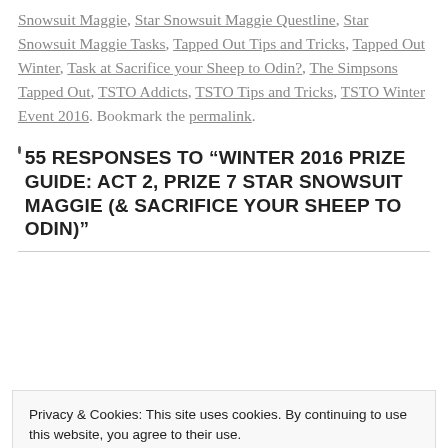Snowsuit Maggie, Star Snowsuit Maggie Questline, Star Snowsuit Maggie Tasks, Tapped Out Tips and Tricks, Tapped Out Winter, Task at Sacrifice your Sheep to Odin?, The Simpsons Tapped Out, TSTO Addicts, TSTO Tips and Tricks, TSTO Winter Event 2016. Bookmark the permalink.
55 RESPONSES TO “WINTER 2016 PRIZE GUIDE: ACT 2, PRIZE 7 STAR SNOWSUIT MAGGIE (& SACRIFICE YOUR SHEEP TO ODIN)”
Privacy & Cookies: This site uses cookies. By continuing to use this website, you agree to their use. To find out more, including how to control cookies, see here: Cookie Policy